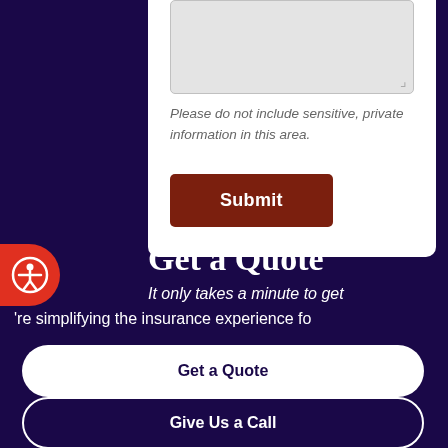Please do not include sensitive, private information in this area.
Submit
Get a Quote
It only takes a minute to get
're simplifying the insurance experience fo
Get a Quote
Give Us a Call